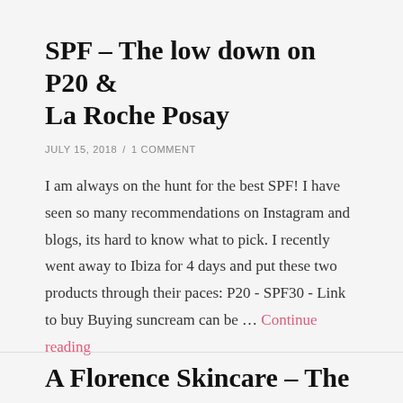SPF – The low down on P20 & La Roche Posay
JULY 15, 2018  /  1 COMMENT
I am always on the hunt for the best SPF!  I have seen so many recommendations on Instagram and blogs, its hard to know what to pick.  I recently went away to Ibiza for 4 days and put these two products through their paces: P20 - SPF30 - Link to buy Buying suncream can be … Continue reading
A Florence Skincare – The